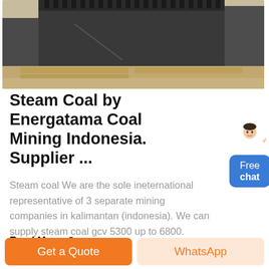[Figure (photo): Industrial mining equipment — large gears and machinery on warehouse floor with wooden pallets]
Steam Coal by Energatama Coal Mining Indonesia. Supplier ...
Steam coal We are the sole ineternational representative of 3 separate mining companies in kalimantan (indonesia). We can supply steam coal gcv 5300 up to 6800.
Read More ↗
Get a Quote
WhatsApp